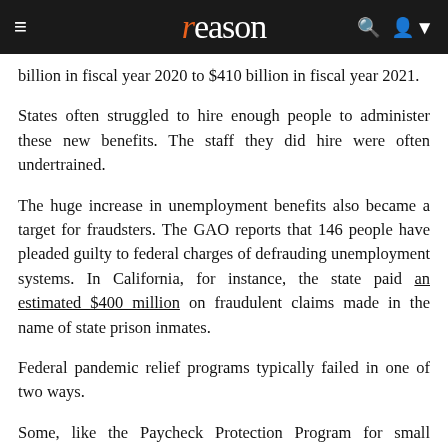reason
billion in fiscal year 2020 to $410 billion in fiscal year 2021.
States often struggled to hire enough people to administer these new benefits. The staff they did hire were often undertrained.
The huge increase in unemployment benefits also became a target for fraudsters. The GAO reports that 146 people have pleaded guilty to federal charges of defrauding unemployment systems. In California, for instance, the state paid an estimated $400 million on fraudulent claims made in the name of state prison inmates.
Federal pandemic relief programs typically failed in one of two ways.
Some, like the Paycheck Protection Program for small businesses, prioritized quickly getting money out the door.